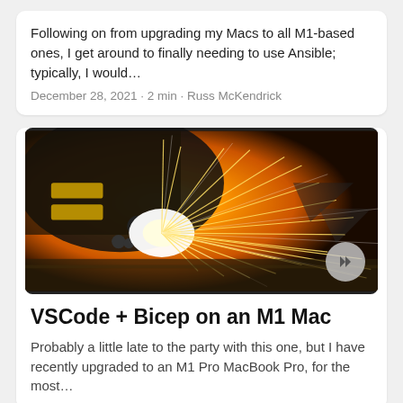Following on from upgrading my Macs to all M1-based ones, I get around to finally needing to use Ansible; typically, I would…
December 28, 2021 · 2 min · Russ McKendrick
[Figure (photo): Industrial laser cutting machine emitting bright sparks on a metal surface]
VSCode + Bicep on an M1 Mac
Probably a little late to the party with this one, but I have recently upgraded to an M1 Pro MacBook Pro, for the most…